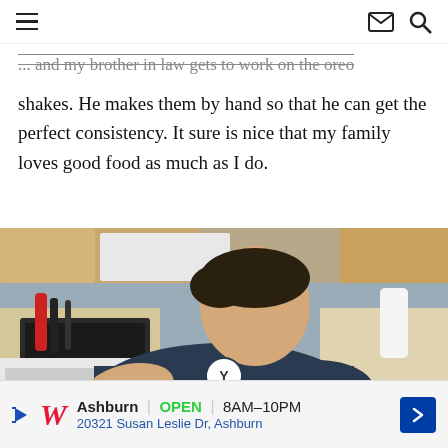[hamburger menu] [email icon] [search icon]
... and my brother in law gets to work on the oreo shakes.  He makes them by hand so that he can get the perfect consistency.  It sure is nice that my family loves good food as much as I do.
[Figure (photo): A man in a dark BYU t-shirt leaning over a counter in a kitchen, appearing to be mixing or preparing food by hand. Kitchen appliances and wood cabinets visible in the background.]
Ashburn  OPEN  8AM–10PM  20321 Susan Leslie Dr, Ashburn